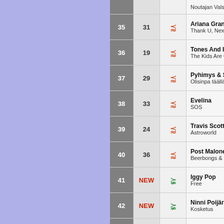| Rank | Prev | Trend | Artist / Album |
| --- | --- | --- | --- |
| 35 | 31 | ▼ | Ariana Grande / Thank U, Next |
| 36 | 19 | ▼ | Tones And I / The Kids Are Coming |
| 37 | 29 | ▼ | Pyhimys & Saimaa / Olisinpa täällä |
| 38 | 33 | ▼ | Evelina / SOS |
| 39 | 24 | ▼ | Travis Scott / Astroworld |
| 40 | 36 | ▼ | Post Malone / Beerbongs & Bentleys |
| 41 | NEW | ▲ | Iggy Pop / Free |
| 42 | NEW | ▲ | Ninni Poijärvi / Tomm... / Kosketus |
| 43 | 35 | ▼ | Avicii / Tim |
| 44 | 39 | ▼ | Olavi Uusivirta / Glamiani |